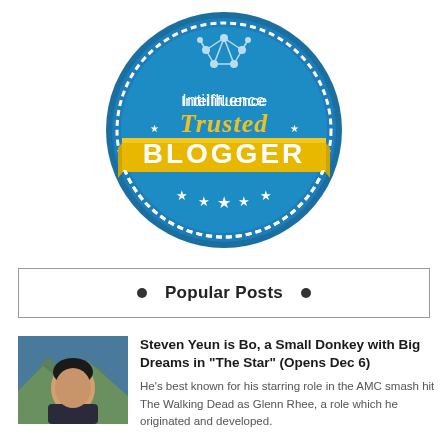[Figure (logo): Intellifluence Trusted Blogger badge — circular blue badge with white dashed border, brain network icon at top, text 'Intellifluence' in white, 'Trusted' in gold italic script, yellow ribbon banner with 'BLOGGER' in large white bold letters, five white stars at bottom]
Popular Posts
[Figure (photo): Thumbnail photo of Steven Yeun, a man in a dark jacket, with mountains in the background]
Steven Yeun is Bo, a Small Donkey with Big Dreams in "The Star" (Opens Dec 6)
He's best known for his starring role in the AMC smash hit The Walking Dead as Glenn Rhee, a role which he originated and developed.